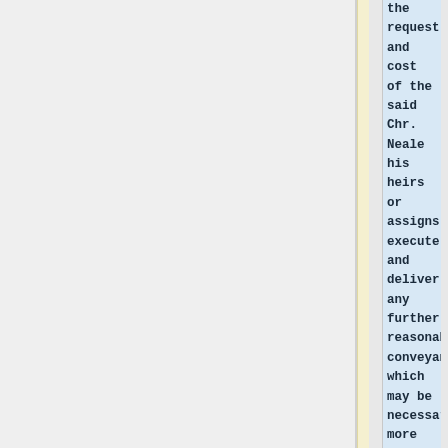the request and cost of the said Chr. Neale his heirs or assigns, execute and deliver any further reasonable conveyances which may be necessary, more fully to transfer the title to the premises before described, to the said Chr. Neale his heirs or